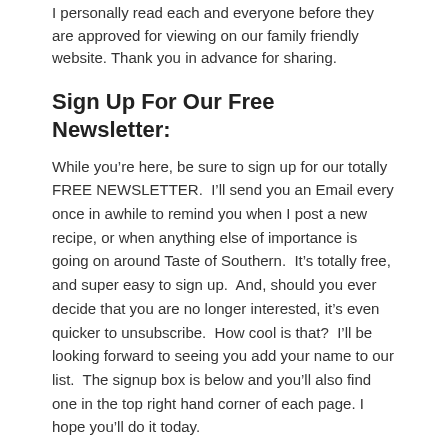I personally read each and everyone before they are approved for viewing on our family friendly website. Thank you in advance for sharing.
Sign Up For Our Free Newsletter:
While you’re here, be sure to sign up for our totally FREE NEWSLETTER.  I’ll send you an Email every once in awhile to remind you when I post a new recipe, or when anything else of importance is going on around Taste of Southern.  It’s totally free, and super easy to sign up.  And, should you ever decide that you are no longer interested, it’s even quicker to unsubscribe.  How cool is that?  I’ll be looking forward to seeing you add your name to our list.  The signup box is below and you’ll also find one in the top right hand corner of each page. I hope you’ll do it today.
Be Blessed!!!
Steve
…
You might also enjoy this recipe:  Peach Delight Cobbler
Or, how about this one:  Cheerwine Cherry Cobbler
.